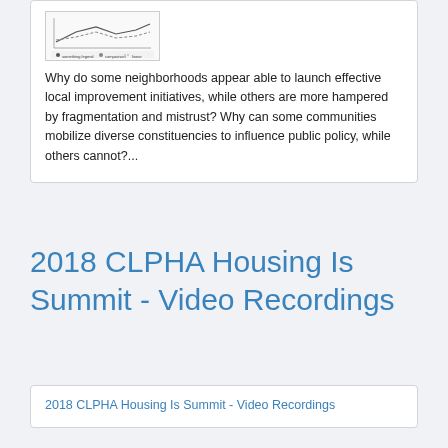[Figure (other): Small thumbnail image showing a line chart or network diagram with a legend below it]
Why do some neighborhoods appear able to launch effective local improvement initiatives, while others are more hampered by fragmentation and mistrust? Why can some communities mobilize diverse constituencies to influence public policy, while others cannot?...
2018 CLPHA Housing Is Summit - Video Recordings
2018 CLPHA Housing Is Summit - Video Recordings